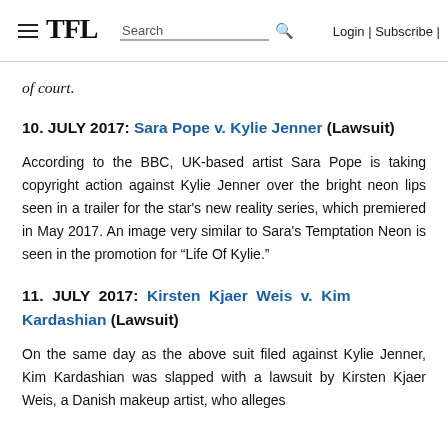TFL | Search | Login | Subscribe |
of court.
10. JULY 2017: Sara Pope v. Kylie Jenner (Lawsuit)
According to the BBC, UK-based artist Sara Pope is taking copyright action against Kylie Jenner over the bright neon lips seen in a trailer for the star's new reality series, which premiered in May 2017. An image very similar to Sara's Temptation Neon is seen in the promotion for “Life Of Kylie.”
11. JULY 2017: Kirsten Kjaer Weis v. Kim Kardashian (Lawsuit)
On the same day as the above suit filed against Kylie Jenner, Kim Kardashian was slapped with a lawsuit by Kirsten Kjaer Weis, a Danish makeup artist, who alleges